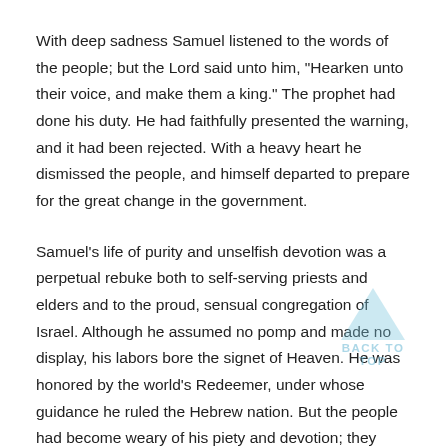With deep sadness Samuel listened to the words of the people; but the Lord said unto him, "Hearken unto their voice, and make them a king." The prophet had done his duty. He had faithfully presented the warning, and it had been rejected. With a heavy heart he dismissed the people, and himself departed to prepare for the great change in the government.
Samuel's life of purity and unselfish devotion was a perpetual rebuke both to self-serving priests and elders and to the proud, sensual congregation of Israel. Although he assumed no pomp and made no display, his labors bore the signet of Heaven. He was honored by the world's Redeemer, under whose guidance he ruled the Hebrew nation. But the people had become weary of his piety and devotion; they despised his humble authority and rejected him for a man who should rule them as a king.
[Figure (other): A light blue upward-pointing arrow with 'BACK TO TOP' text label below it, serving as a navigation element.]